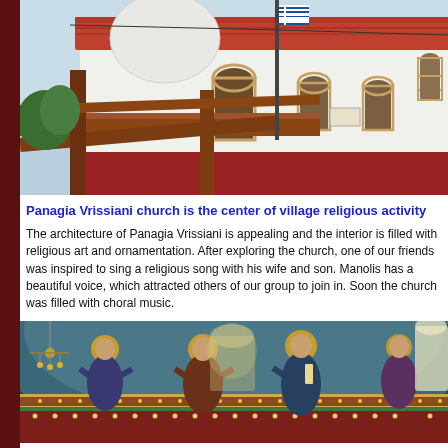[Figure (photo): Exterior of Panagia Vrissiani church — white-walled building with red-tiled roof and terracotta lower band, wooden pergola in foreground, Greek flag on a pole, arched doorways and windows visible]
Panagia Vrissiani church is the center of village religious activity
The architecture of Panagia Vrissiani is appealing and the interior is filled with religious art and ornamentation. After exploring the church, one of our friends was inspired to sing a religious song with his wife and son. Manolis has a beautiful voice, which attracted others of our group to join in. Soon the church was filled with choral music.
[Figure (photo): Interior of Panagia Vrissiani church showing Byzantine-style frescoes and mosaics on the curved ceiling/dome — saints depicted with halos on blue and green background with decorative borders]